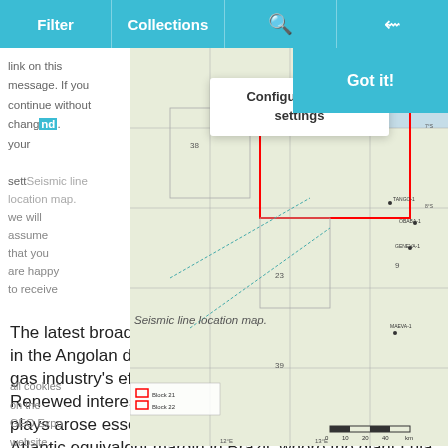Filter | Collections | [search icon] | [share icon]
[Figure (map): Seismic line location map showing offshore Angola blocks 21 and 22, with latitude/longitude grid and labeled wells and features.]
Seismic line location map.
The latest broadband seismic technology is being used in the Angolan deep offshore area as part of the oil and gas industry's efforts to unveil the sub-salt potential. Renewed interest in Angola's deep offshore pre-salt plays arose essentially from the success of the South Atlantic equivalent margin in Brazil, where the giant Lula field and more recently the Libra discovery were found. In Angola, the high-impact Azul and Cameia discoveries were found in similar pre-salt carbonate reservoirs. CGG recently